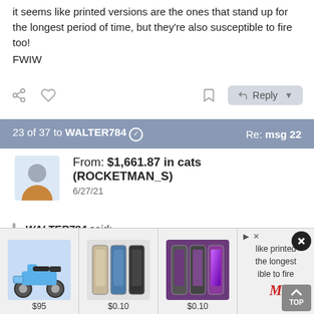it seems like printed versions are the ones that stand up for the longest period of time, but they're also susceptible to fire too!
FWIW
23 of 37 to WALTER784  Re: msg 22
From: $1,661.87 in cats (ROCKETMAN_S) 6/27/21
WALTER784 said: Yes, but the sad part is that electronically held information (Facebook, Twitter, Google Drive, etc.) can all be easily manipulated or deleted depending on the content. Which means that they can delete anything they don't agree with and only leave up
[Figure (screenshot): Advertisement bar at bottom showing electric scooter ($95), two groups of iPhones ($0.10 each), and a Macy's-style ad with text 'like printed the longest ible to fire', close button, and TOP scroll button]